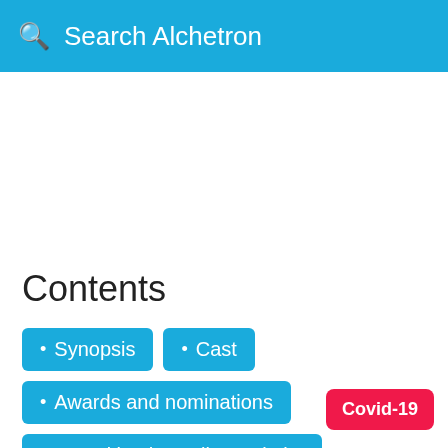Search Alchetron
Contents
Synopsis
Cast
Awards and nominations
Saved by the Belles website
References (partial)
Covid-19